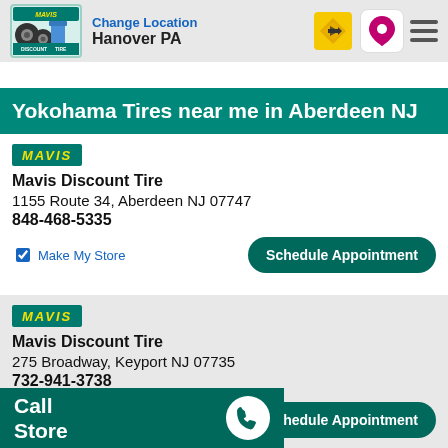Change Location Hanover PA
Yokohama Tires near me in Aberdeen NJ
Mavis Discount Tire
1155 Route 34, Aberdeen NJ 07747
848-468-5335
Make My Store
Schedule Appointment
Mavis Discount Tire
275 Broadway, Keyport NJ 07735
732-941-3738
Schedule Appointment
Call Store